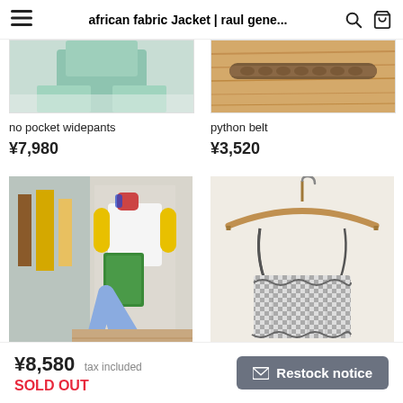african fabric Jacket | raul gene...
[Figure (photo): Partial product image - mint green top (no pocket widepants), cropped at top]
no pocket widepants
¥7,980
[Figure (photo): Partial product image - wooden surface with python belt, cropped at top]
python belt
¥3,520
[Figure (photo): Full product photo - flower embroidery flared pants on mannequin in store front]
flower embroidery flared pa...
¥9,350
[Figure (photo): Full product photo - gingham plaid bustier top hanging on wooden hanger]
gingham plaid bustier
¥4,950
¥8,580 tax included SOLD OUT  Restock notice